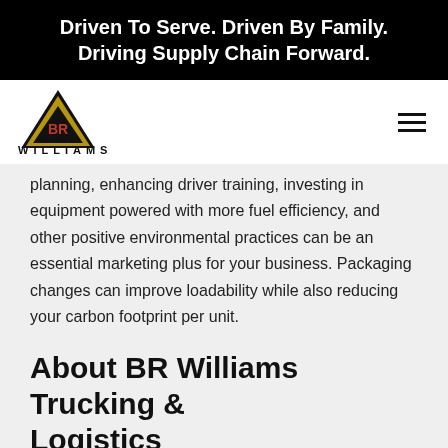Driven To Serve. Driven By Family. Driving Supply Chain Forward.
[Figure (logo): BR Williams logo: a triangle with BR monogram inside, and WILLIAMS text below]
planning, enhancing driver training, investing in equipment powered with more fuel efficiency, and other positive environmental practices can be an essential marketing plus for your business. Packaging changes can improve loadability while also reducing your carbon footprint per unit.
About BR Williams Trucking & Logistics
BR Williams, a family-owned Trucking, Warehousing, Fulfillment & Logistics Company has been serving